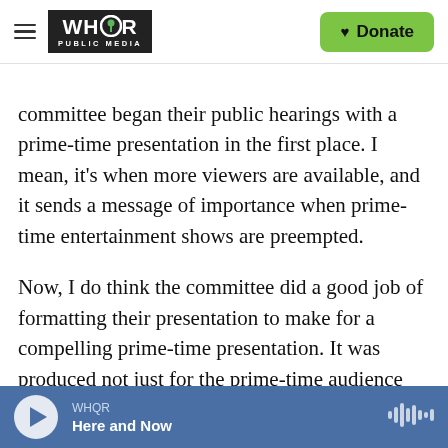WHQR PUBLIC MEDIA | Donate
committee began their public hearings with a prime-time presentation in the first place. I mean, it's when more viewers are available, and it sends a message of importance when prime-time entertainment shows are preempted.
Now, I do think the committee did a good job of formatting their presentation to make for a compelling prime-time presentation. It was produced not just for the prime-time audience but for journalists and pundits and commentators who could take pieces of that material and then talk about it on other platforms. So we'll see if they can
WHQR | Here and Now